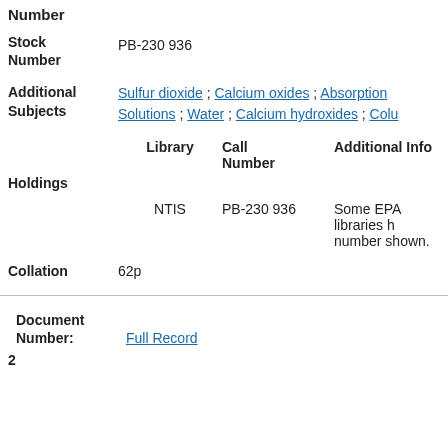Number
Stock Number
PB-230 936
Additional Subjects
Sulfur dioxide ; Calcium oxides ; Absorption Solutions ; Water ; Calcium hydroxides ; Colu
| Library | Call Number | Additional Info |
| --- | --- | --- |
| NTIS | PB-230 936 | Some EPA libraries h number shown. |
Holdings
Collation  62p
Document
Number:  Full Record
2